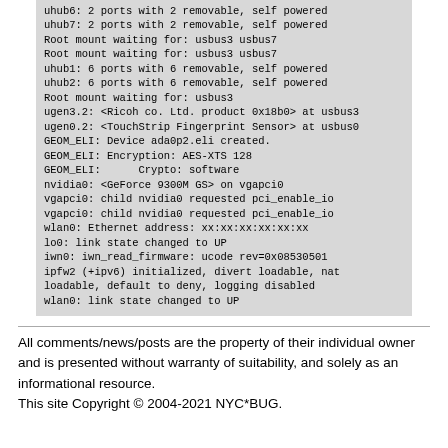uhub6: 2 ports with 2 removable, self powered
uhub7: 2 ports with 2 removable, self powered
Root mount waiting for: usbus3 usbus7
Root mount waiting for: usbus3 usbus7
uhub1: 6 ports with 6 removable, self powered
uhub2: 6 ports with 6 removable, self powered
Root mount waiting for: usbus3
ugen3.2: <Ricoh co. Ltd. product 0x18b0> at usbus3
ugen0.2: <TouchStrip Fingerprint Sensor> at usbus0
GEOM_ELI: Device ada0p2.eli created.
GEOM_ELI: Encryption: AES-XTS 128
GEOM_ELI:      Crypto: software
nvidia0: <GeForce 9300M GS> on vgapci0
vgapci0: child nvidia0 requested pci_enable_io
vgapci0: child nvidia0 requested pci_enable_io
wlan0: Ethernet address: xx:xx:xx:xx:xx:xx
lo0: link state changed to UP
iwn0: iwn_read_firmware: ucode rev=0x08530501
ipfw2 (+ipv6) initialized, divert loadable, nat loadable, default to deny, logging disabled
wlan0: link state changed to UP
All comments/news/posts are the property of their individual owner and is presented without warranty of suitability, and solely as an informational resource. This site Copyright © 2004-2021 NYC*BUG.